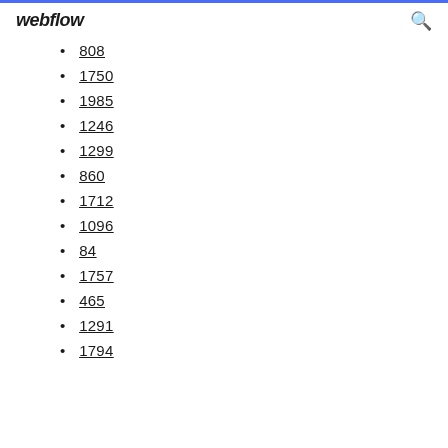webflow
808
1750
1985
1246
1299
860
1712
1096
84
1757
465
1291
1794